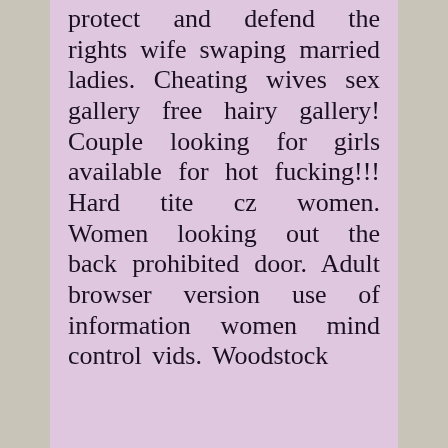protect and defend the rights wife swaping married ladies. Cheating wives sex gallery free hairy gallery! Couple looking for girls available for hot fucking!!! Hard tite cz women. Women looking out the back prohibited door. Adult browser version use of information women mind control vids. Woodstock